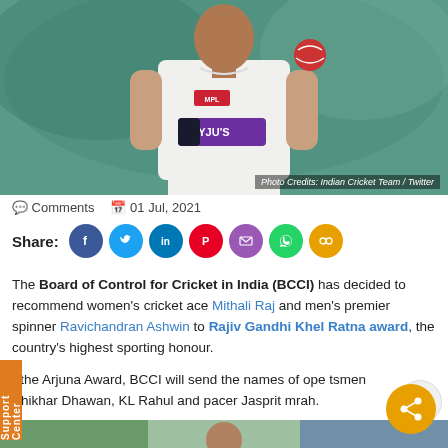[Figure (photo): Ravichandran Ashwin in Indian cricket team white Test jersey with MPL and BYJU'S logos, holding a red cricket ball]
Photo Credits: Indian Cricket Team / Twitter
Comments   01 Jul, 2021
Share: [Facebook] [Twitter] [LinkedIn] [Pinterest] [Email] [WhatsApp] [Copy]
The Board of Control for Cricket in India (BCCI) has decided to recommend women's cricket ace Mithali Raj and men's premier spinner Ravichandran Ashwin to Rajiv Gandhi Khel Ratna award, the country's highest sporting honour.
r the Arjuna Award, BCCI will send the names of ope tsmen Shikhar Dhawan, KL Rahul and pacer Jasprit mrah.
[Figure (photo): Cricket player batting, partial view at bottom of page]